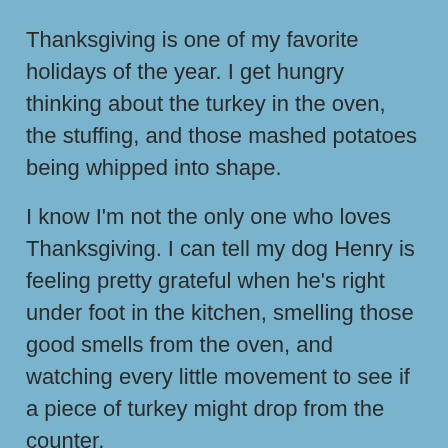Thanksgiving is one of my favorite holidays of the year. I get hungry thinking about the turkey in the oven, the stuffing, and those mashed potatoes being whipped into shape.
I know I'm not the only one who loves Thanksgiving. I can tell my dog Henry is feeling pretty grateful when he's right under foot in the kitchen, smelling those good smells from the oven, and watching every little movement to see if a piece of turkey might drop from the counter.
I'm very grateful for my dog Henry, and with any holiday, it's fun to let your dog share in the celebration. Here are some different ideas for